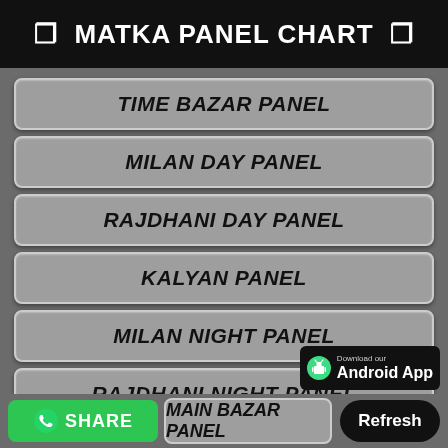❐ MATKA PANEL CHART ❐
TIME BAZAR PANEL
MILAN DAY PANEL
RAJDHANI DAY PANEL
KALYAN PANEL
MILAN NIGHT PANEL
RAJDHANI NIGHT PANEL
[Figure (infographic): Download our Android App badge with Android robot icon]
MAIN BAZAR PANEL
SHARE
Refresh